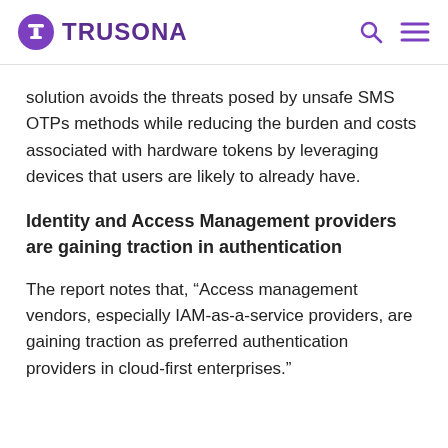TRUSONA
solution avoids the threats posed by unsafe SMS OTPs methods while reducing the burden and costs associated with hardware tokens by leveraging devices that users are likely to already have.
Identity and Access Management providers are gaining traction in authentication
The report notes that, “Access management vendors, especially IAM-as-a-service providers, are gaining traction as preferred authentication providers in cloud-first enterprises.”